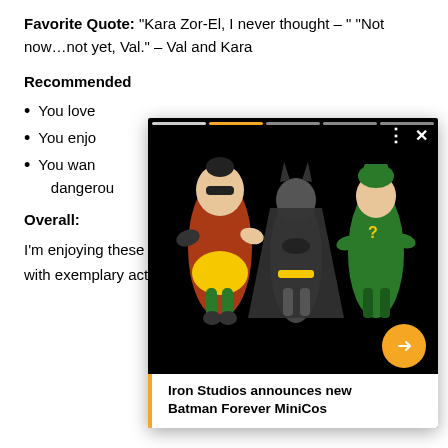Favorite Quote: "Kara Zor-El, I never thought – " "Not now…not yet, Val." – Val and Kara
Recommended
You love
You enjo
You wan dangerous
[Figure (photo): Ad overlay showing Iron Studios Batman Forever MiniCos figures (Robin, Batman, Riddler) on black background with progress bar, close button, and forward arrow. Caption reads: Iron Studios announces new Batman Forever MiniCos]
Overall:
I'm enjoying these first two issues so much.  Strong writing with exemplary action sequences and solid